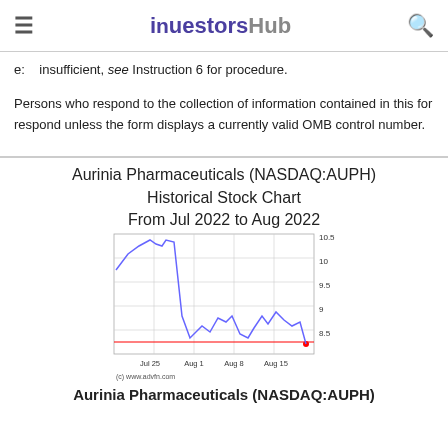investorshub
e:    insufficient, see Instruction 6 for procedure.

Persons who respond to the collection of information contained in this for respond unless the form displays a currently valid OMB control number.
[Figure (line-chart): Line chart showing AUPH stock price from Jul 2022 to Aug 2022. Blue line starts around 9.8, rises to ~10.5, then drops sharply to ~8.5 range. Red horizontal reference line around 8.3.]
(c) www.advfn.com
Aurinia Pharmaceuticals (NASDAQ:AUPH)